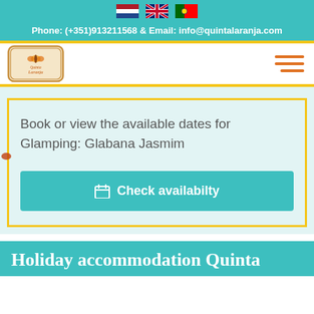[Figure (other): Three country flag icons (Netherlands, UK, Portugal) in the top teal header bar]
Phone: (+351)913211568 & Email: info@quintalaranja.com
[Figure (logo): Quinta Laranja logo — ornate frame with butterfly and brand name]
[Figure (other): Hamburger menu icon (three orange horizontal lines)]
Book or view the available dates for Glamping: Glabana Jasmim
🗓 Check availabilty
Holiday accommodation Quinta